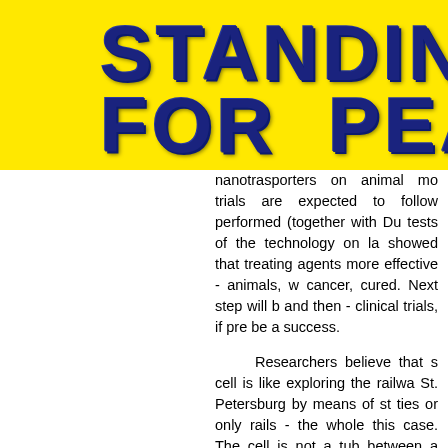[Figure (other): Yellow banner header with large bold dark navy blue cracked/lightning-textured text reading 'STANDING FOR PEA' (partially cropped on right)]
nanotrasporters on animal mo trials are expected to follow performed (together with Du tests of the technology on la showed that treating agents more effective - animals, w cancer, cured. Next step will b and then - clinical trials, if pre be a success.

Researchers believe that s cell is like exploring the railwa St. Petersburg by means of st ties or only rails - the whole this case. The cell is not a tub between a complicated